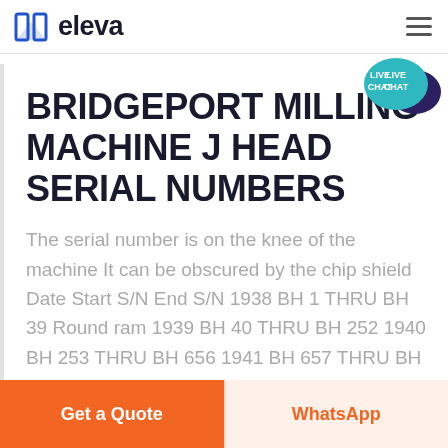eleva
BRIDGEPORT MILLING MACHINE J HEAD SERIAL NUMBERS
The serial number is on the knee of the machine It can be obscured by the chip shield Date Start S/N End S/N 1938 BH 1 THRU BH 39 Round ram 1939 BH 40 THRU BH 252 1940 BH 253 THRU BH 656 1941 BH 657 THRU BH 1549 1942